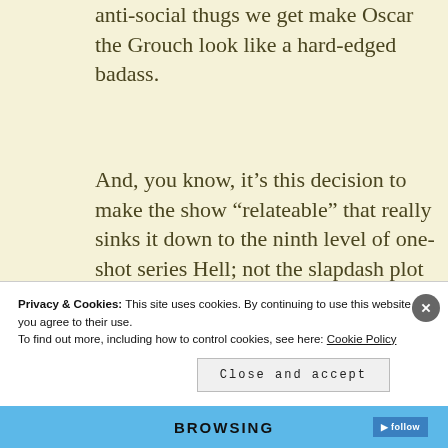anti-social thugs we get make Oscar the Grouch look like a hard-edged badass.
And, you know, it’s this decision to make the show “relateable” that really sinks it down to the ninth level of one-shot series Hell; not the slapdash plot full of holes, not the godawful animation, and not even the general “can we
Privacy & Cookies: This site uses cookies. By continuing to use this website, you agree to their use.
To find out more, including how to control cookies, see here: Cookie Policy
Close and accept
BROWSING